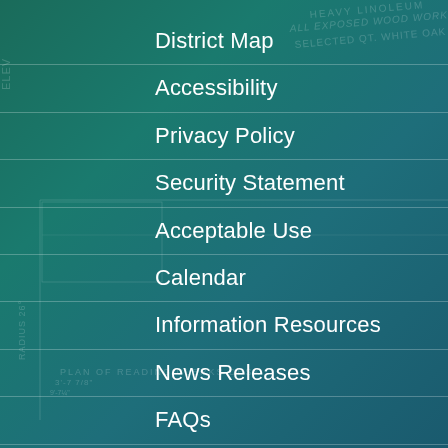District Map
Accessibility
Privacy Policy
Security Statement
Acceptable Use
Calendar
Information Resources
News Releases
FAQs
Contact Us
Committees
Programs
About
Watch Live